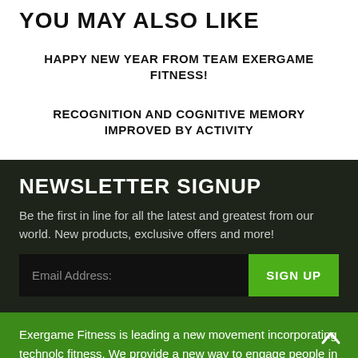YOU MAY ALSO LIKE
HAPPY NEW YEAR FROM TEAM EXERGAME FITNESS!
RECOGNITION AND COGNITIVE MEMORY IMPROVED BY ACTIVITY
NEWSLETTER SIGNUP
Be the first in line for all the latest and greatest from our world. New products, exclusive offers and more!
Exergame Fitness is leading a new movement incorporating technolc fitness. We provide a new way to engage people in fitness, through gamification and technology. By doing this, we create socially engaging